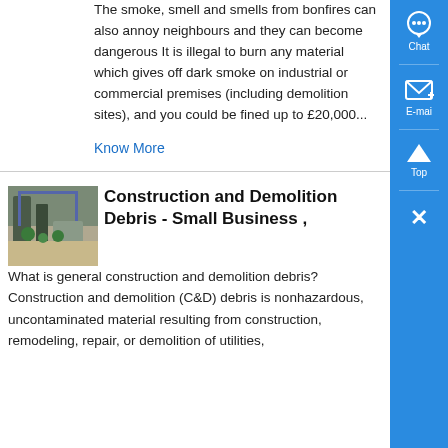The smoke, smell and smells from bonfires can also annoy neighbours and they can become dangerous It is illegal to burn any material which gives off dark smoke on industrial or commercial premises (including demolition sites), and you could be fined up to £20,000...
Know More
[Figure (photo): Photo of a construction or demolition site interior with equipment and plants]
Construction and Demolition Debris - Small Business ,
What is general construction and demolition debris? Construction and demolition (C&D) debris is nonhazardous, uncontaminated material resulting from construction, remodeling, repair, or demolition of utilities,